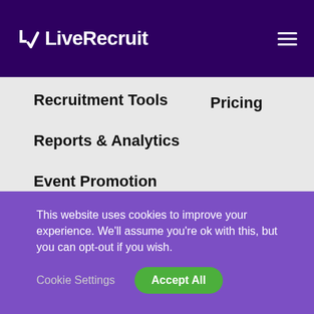LiveRecruit
Recruitment Tools
Reports & Analytics
Event Promotion
Security
Pricing
This website uses cookies to improve your experience. We'll assume you're ok with this, but you can opt-out if you wish.
Cookie Settings | Accept All